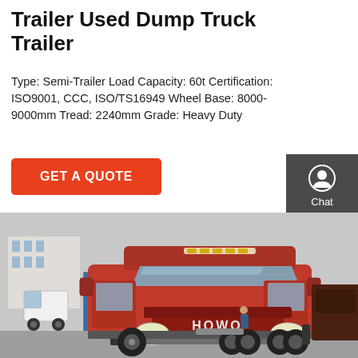Trailer Used Dump Truck Trailer
Type: Semi-Trailer Load Capacity: 60t Certification: ISO9001, CCC, ISO/TS16949 Wheel Base: 8000-9000mm Tread: 2240mm Grade: Heavy Duty
GET A QUOTE
[Figure (infographic): Sidebar with Chat, Email, and Contact icons on dark grey background]
[Figure (photo): Red HOWO semi-truck tractor unit parked in a truck yard with industrial buildings in the background]